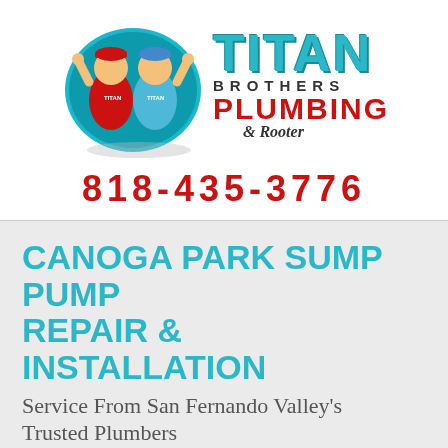[Figure (logo): Titan Brothers Plumbing & Rooter logo with two plumber mascots in a teal oval and stylized text]
818-435-3776
CANOGA PARK SUMP PUMP REPAIR & INSTALLATION
Service From San Fernando Valley's Trusted Plumbers
If you have a basement, you may want to consider installing a sump pump in your home. Sump pumps work by diverting water or draining system